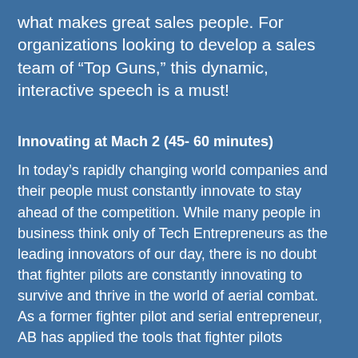what makes great sales people. For organizations looking to develop a sales team of “Top Guns,” this dynamic, interactive speech is a must!
Innovating at Mach 2 (45- 60 minutes)
In today’s rapidly changing world companies and their people must constantly innovate to stay ahead of the competition. While many people in business think only of Tech Entrepreneurs as the leading innovators of our day, there is no doubt that fighter pilots are constantly innovating to survive and thrive in the world of aerial combat.   As a former fighter pilot and serial entrepreneur, AB has applied the tools that fighter pilots